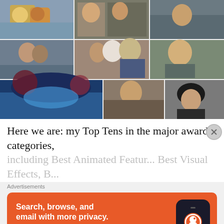[Figure (photo): A 3x3 grid of movie stills showing scenes from various films including animated characters, actors in dramatic scenes, a fantasy forest, and portrait shots.]
Here we are: my Top Tens in the major award categories,
including Best Animated Feature, Best Visual Effects, B...
Advertisements
[Figure (screenshot): DuckDuckGo advertisement: 'Search, browse, and email with more privacy. All in One Free App' with phone graphic showing DuckDuckGo logo.]